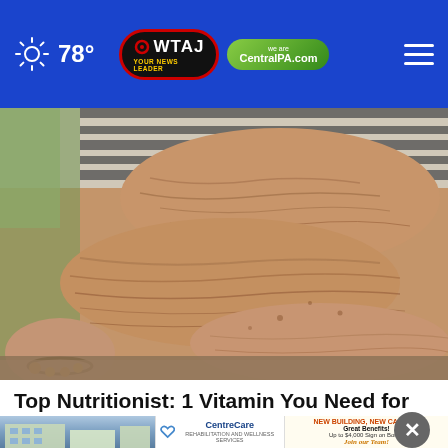78° | WTAJ Your News Leader | CentralPA.com
[Figure (photo): Close-up photo of elderly person's wrinkled forearms and hands resting on a surface, wearing a striped shirt and a bracelet with gold beads]
Top Nutritionist: 1 Vitamin You Need for Crepe Skin
Dr. Ke...
[Figure (photo): Advertisement banner: CentreCare rehabilitation and wellness services - New Building, New Career! Great Benefits! Up to $4,000 Sign on Bonus - Join our Team!]